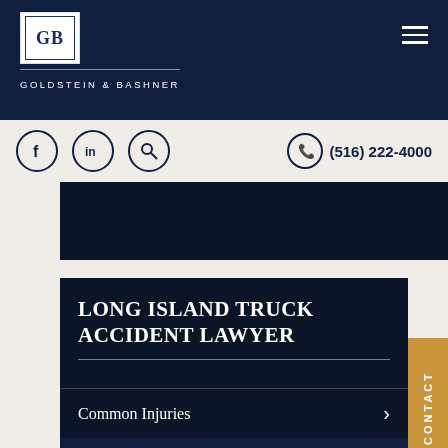Goldstein & Bashner — Logo and navigation header
(516) 222-4000
LONG ISLAND TRUCK ACCIDENT LAWYER
Common Injuries
Blind Spot